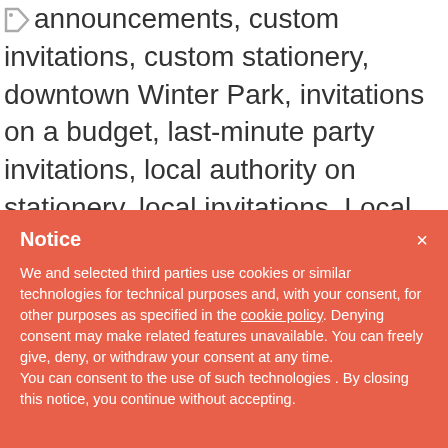announcements, custom invitations, custom stationery, downtown Winter Park, invitations on a budget, last-minute party invitations, local authority on stationery, local invitations, Local stationery, Maureen Hall, on-site printing, Park Avenue, party accessories, party invitations, personalized service, personalized stationery, save
Notice

We and selected third parties use cookies or similar technologies for technical purposes and, with your consent, for other purposes as specified in the cookie policy. Denying consent may make related features unavailable. You can freely give, deny, or withdraw your consent at any time.
You can consent to the use of such technologies . By closing this notice, you continue without accepting.